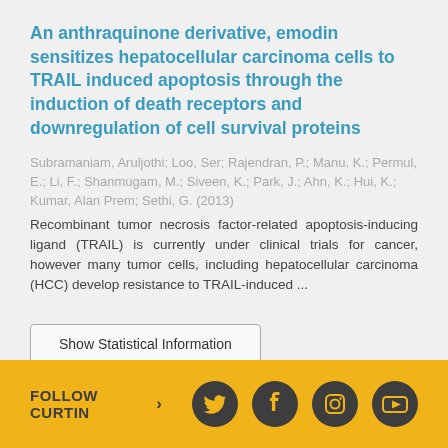An anthraquinone derivative, emodin sensitizes hepatocellular carcinoma cells to TRAIL induced apoptosis through the induction of death receptors and downregulation of cell survival proteins
Subramaniam, Aruljothi; Loo, Ser; Rajendran, P.; Manu, K.; Permul, E.; Li, F.; Shanmugam, M.; Siveen, K.; Park, J.; Ahn, K.; Hui, K.; Kumar, Alan Prem; Sethi, G. (2013)
Recombinant tumor necrosis factor-related apoptosis-inducing ligand (TRAIL) is currently under clinical trials for cancer, however many tumor cells, including hepatocellular carcinoma (HCC) develop resistance to TRAIL-induced ...
Show Statistical Information
FOLLOW CURTIN >